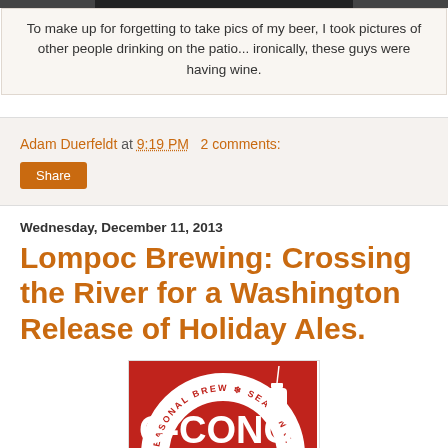[Figure (photo): Partial photo of people on a patio, top strip visible]
To make up for forgetting to take pics of my beer, I took pictures of other people drinking on the patio... ironically, these guys were having wine.
Adam Duerfeldt at 9:19 PM   2 comments:
Share
Wednesday, December 11, 2013
Lompoc Brewing: Crossing the River for a Washington Release of Holiday Ales.
[Figure (logo): Lompoc Brewing red circular logo with text SEASONAL BREW repeated around the circle]